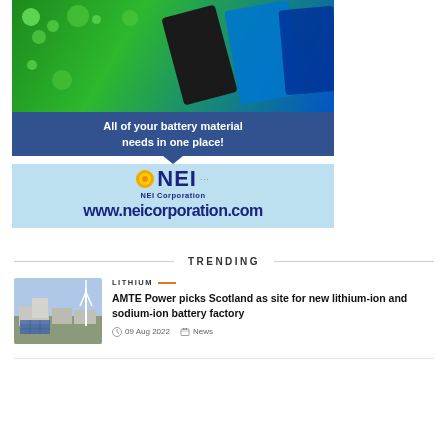[Figure (illustration): NEI Corporation advertisement banner showing battery materials in green liquid at top, dark blue bar with text 'All of your battery material needs in one place!', and light blue bottom section with NEI logo and website www.neicorporation.com]
TRENDING
[Figure (photo): Aerial view of an industrial facility with wind turbine and solar panels]
LITHIUM
AMTE Power picks Scotland as site for new lithium-ion and sodium-ion battery factory
09 Aug 2022   News